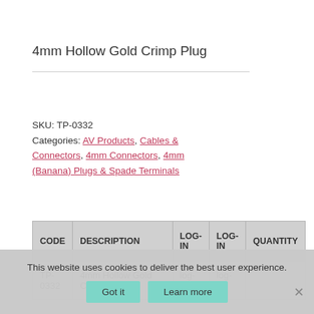4mm Hollow Gold Crimp Plug
SKU: TP-0332
Categories: AV Products, Cables & Connectors, 4mm Connectors, 4mm (Banana) Plugs & Spade Terminals
| CODE | DESCRIPTION | LOG-IN | LOG-IN | QUANTITY |
| --- | --- | --- | --- | --- |
| TP-0332 | 4mm Hollow Gold Crimp Plug | log-in | log-in |  |
This website uses cookies to deliver the best user experience.